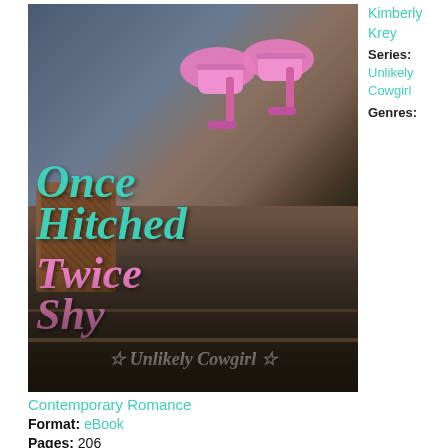[Figure (illustration): Book cover for 'Once Hitched Twice Shy' by Kimberly Krey showing a woman's legs wearing pink high heels and cowboy boots sitting on rusty metal steps. Title text overlays the image in teal and pink, with 'Unlikely Cowgirl' series branding at the bottom.]
Kimberly Krey
Series: Unlikely Cowgirl
Genres:
Contemporary Romance
Format: eBook
Pages: 206